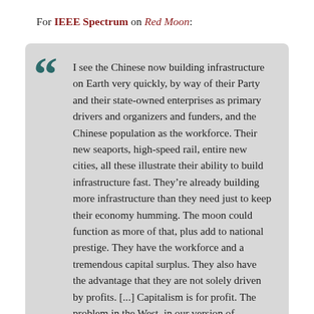For IEEE Spectrum on Red Moon:
I see the Chinese now building infrastructure on Earth very quickly, by way of their Party and their state-owned enterprises as primary drivers and organizers and funders, and the Chinese population as the workforce. Their new seaports, high-speed rail, entire new cities, all these illustrate their ability to build infrastructure fast. They're already building more infrastructure than they need just to keep their economy humming. The moon could function as more of that, plus add to national prestige. They have the workforce and a tremendous capital surplus. They also have the advantage that they are not solely driven by profits. [...] Capitalism is for profit. The problem in the West, in our version of capitalism, is that if you say the